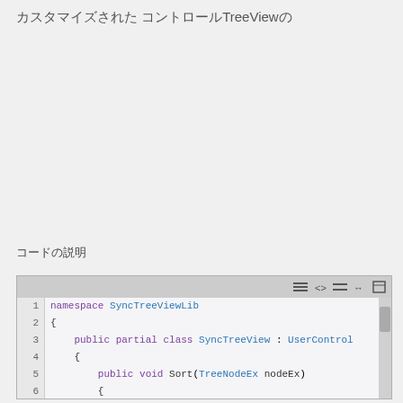カスタマイズされたTreeView​の
コードの説明
[Figure (screenshot): Code editor screenshot showing C# code with line numbers 1-8. namespace SyncTreeViewLib { public partial class SyncTreeView : UserControl { public void Sort(TreeNodeEx nodeEx) { if (nodeEx == null) return;]